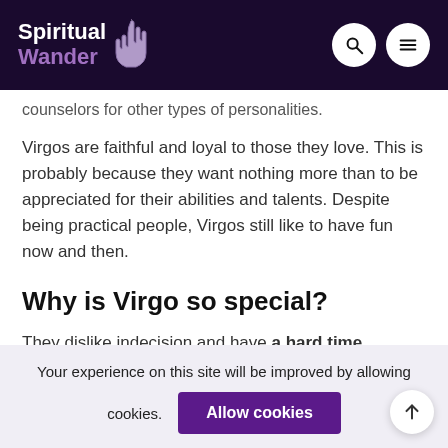Spiritual Wander
counselors for other types of personalities.
Virgos are faithful and loyal to those they love. This is probably because they want nothing more than to be appreciated for their abilities and talents. Despite being practical people, Virgos still like to have fun now and then.
Why is Virgo so special?
They dislike indecision and have a hard time changing their minds once they've made up theirs.
Your experience on this site will be improved by allowing cookies.